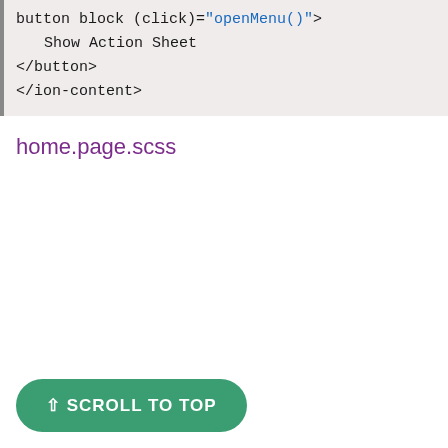button block (click)="openMenu()">
    Show Action Sheet
</button>
</ion-content>
home.page.scss
⇧ SCROLL TO TOP